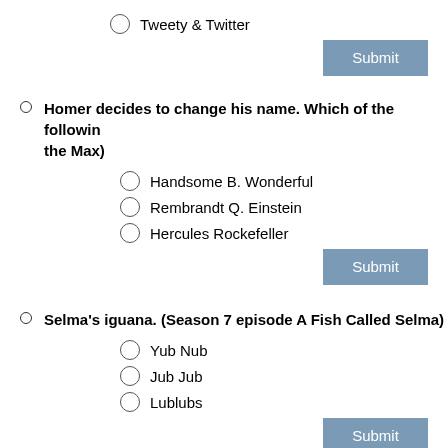Tweety & Twitter
Homer decides to change his name. Which of the following did he NOT choose (he went with Max Power - Homer to the Max)
Handsome B. Wonderful
Rembrandt Q. Einstein
Hercules Rockefeller
Selma's iguana. (Season 7 episode A Fish Called Selma)
Yub Nub
Jub Jub
Lublubs
Superintendent Chalmers' first name.
Gary
Harry